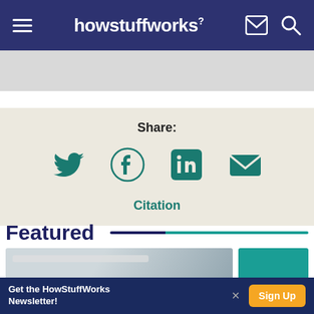howstuffworks
[Figure (screenshot): Gray advertisement banner area]
Share:
[Figure (infographic): Social share icons: Twitter, Facebook, LinkedIn, Email]
Citation
Featured
[Figure (photo): Two featured article thumbnail images]
Get the HowStuffWorks Newsletter!
Sign Up